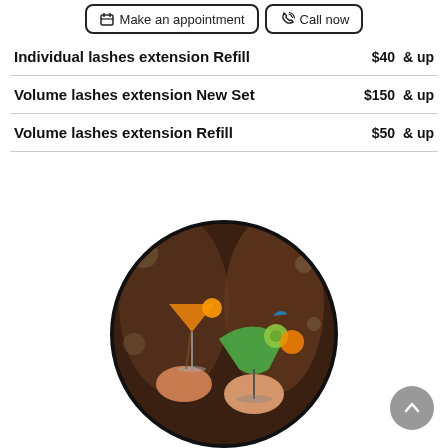Make an appointment | Call now
Individual lashes extension Refill   $40 & up
Volume lashes extension New Set   $150 & up
Volume lashes extension Refill   $50 & up
[Figure (photo): Circular photo of two people holding colorful cocktail glasses — one orange martini and one green margarita with lime and umbrella garnish]